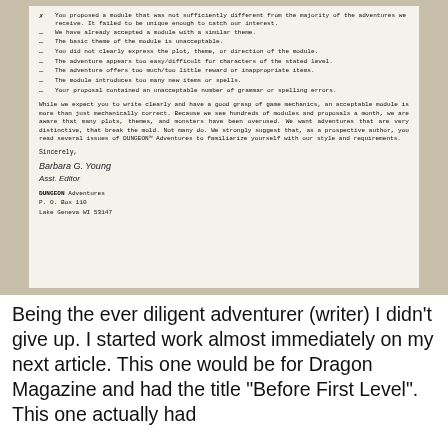[Figure (photo): A scanned/photographed form rejection letter from DUNGEON Adventures on aged paper with a checklist of rejection reasons, followed by a paragraph about style and requirements, signed by Barbara G. Young, Asst. Editor, with address: DUNGEON Adventures, P.O. Box 110, Lake Geneva WI 53147.]
Being the ever diligent adventurer (writer) I didn't give up. I started work almost immediately on my next article. This one would be for Dragon Magazine and had the title "Before First Level". This one actually had...